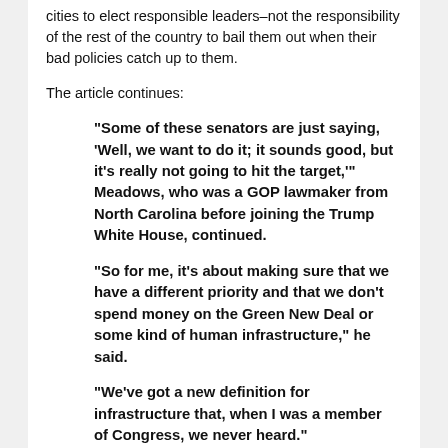cities to elect responsible leaders–not the responsibility of the rest of the country to bail them out when their bad policies catch up to them.
The article continues:
“Some of these senators are just saying, ‘Well, we want to do it; it sounds good, but it’s really not going to hit the target,’” Meadows, who was a GOP lawmaker from North Carolina before joining the Trump White House, continued.
“So for me, it’s about making sure that we have a different priority and that we don’t spend money on the Green New Deal or some kind of human infrastructure,” he said.
“We’ve got a new definition for infrastructure that, when I was a member of Congress, we never heard.”